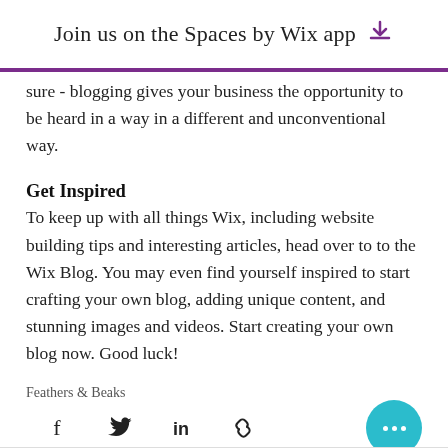Join us on the Spaces by Wix app
sure - blogging gives your business the opportunity to be heard in a way in a different and unconventional way.
Get Inspired
To keep up with all things Wix, including website building tips and interesting articles, head over to to the Wix Blog. You may even find yourself inspired to start crafting your own blog, adding unique content, and stunning images and videos. Start creating your own blog now. Good luck!
Feathers & Beaks
[Figure (infographic): Social sharing icons: Facebook, Twitter, LinkedIn, link/chain icon, and a teal circular more button with three dots]